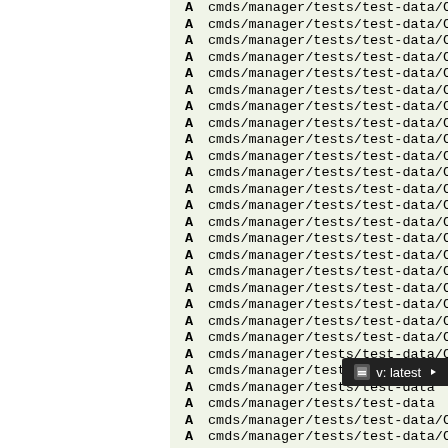A cmds/manager/tests/test-data/Cli0107
A cmds/manager/tests/test-data/Cli0108
A cmds/manager/tests/test-data/Cli0108
A cmds/manager/tests/test-data/Cli0109
A cmds/manager/tests/test-data/Cli0109
A cmds/manager/tests/test-data/Cli0110
A cmds/manager/tests/test-data/Cli0110
A cmds/manager/tests/test-data/Cli0111
A cmds/manager/tests/test-data/Cli0111
A cmds/manager/tests/test-data/Cli0112
A cmds/manager/tests/test-data/Cli0112
A cmds/manager/tests/test-data/Cli0113
A cmds/manager/tests/test-data/Cli0113
A cmds/manager/tests/test-data/Cli0113
A cmds/manager/tests/test-data/Cli0113
A cmds/manager/tests/test-data/Cli0113
A cmds/manager/tests/test-data/Cli0113
A cmds/manager/tests/test-data/Cli0113
A cmds/manager/tests/test-data/Cli0113
A cmds/manager/tests/test-data/Cli0113
A cmds/manager/tests/test-data/Cli0113
A cmds/manager/tests/test-data/Cli0113
A cmds/manager/tests/test-data/Cli0113
A cmds/manager/tests/test-data
A cmds/manager/tests/test-data
A cmds/manager/tests/test-data/Cli0115
A cmds/manager/tests/test-data/Cli0115
A cmds/manager/tests/test-data/Cli0116